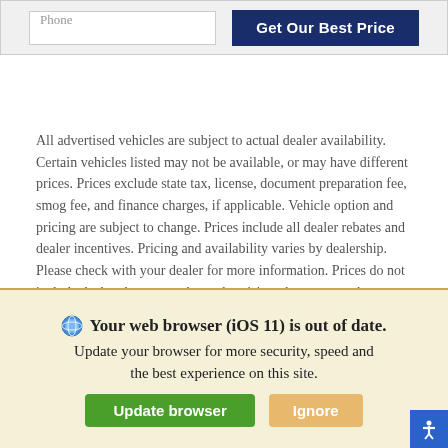[Figure (screenshot): Phone input field and 'Get Our Best Price' dark blue button inside a light grey form bar at the top of the page]
All advertised vehicles are subject to actual dealer availability. Certain vehicles listed may not be available, or may have different prices. Prices exclude state tax, license, document preparation fee, smog fee, and finance charges, if applicable. Vehicle option and pricing are subject to change. Prices include all dealer rebates and dealer incentives. Pricing and availability varies by dealership. Please check with your dealer for more information. Prices do not include dealer charges, such as advertising, that can vary by manufacturer or region, or costs for selling, preparing, displaying or financing the vehicle. Images
Your web browser (iOS 11) is out of date. Update your browser for more security, speed and the best experience on this site.
[Figure (screenshot): Update browser and Ignore buttons in a browser update banner with yellow-tan background]